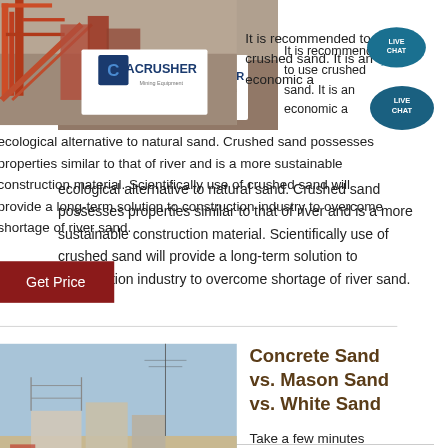[Figure (photo): ACRUSHER Mining Equipment machinery photo with red industrial equipment and logo overlay]
It is recommended to use crushed sand. It is an economic and ecological alternative to natural sand. Crushed sand possesses properties similar to that of river and is a more sustainable construction material. Scientifically use of crushed sand will provide a long-term solution to construction industry to overcome shortage of river sand.
[Figure (infographic): Live Chat speech bubble icon in teal/dark blue]
Get Price
[Figure (photo): Construction site with buildings under construction]
Concrete Sand vs. Mason Sand vs. White Sand
Take a few minutes